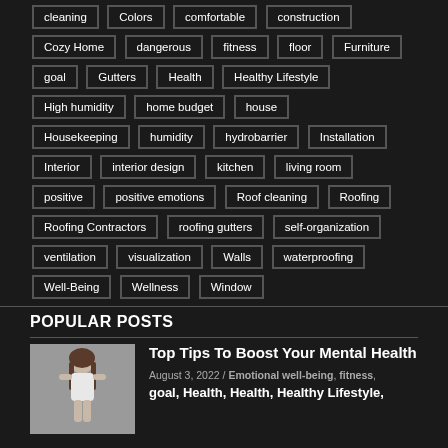cleaning
Colors
comfortable
construction
Cozy Home
dangerous
fitness
floor
Furniture
goal
Gutters
Health
Healthy Lifestyle
High humidity
home budget
house
Housekeeping
humidity
hydrobarrier
Installation
Interior
interior design
kitchen
living room
positive
positive emotions
Roof cleaning
Roofing
Roofing Contractors
roofing gutters
self-organization
ventilation
visualization
Walls
waterproofing
Well-Being
Wellness
Window
POPULAR POSTS
[Figure (photo): Woman meditating with eyes closed, arms at sides, white shirt, light gray background]
Top Tips To Boost Your Mental Health
August 3, 2022 / Emotional well-being, fitness, goal, Health, Health, Healthy Lifestyle,